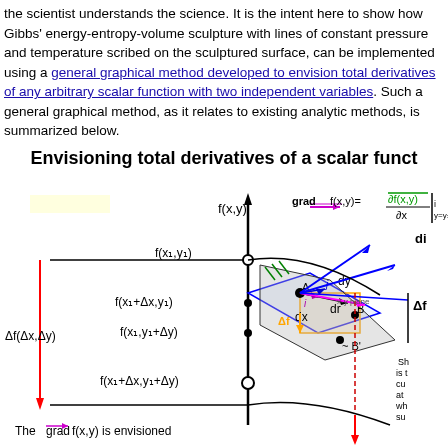the scientist understands the science. It is the intent here to show how Gibbs' energy-entropy-volume sculpture with lines of constant pressure and temperature scribed on the sculptured surface, can be implemented using a general graphical method developed to envision total derivatives of any arbitrary scalar function with two independent variables. Such a general graphical method, as it relates to existing analytic methods, is summarized below.
Envisioning total derivatives of a scalar funct
[Figure (engineering-diagram): Mathematical diagram showing f(x,y) surface with gradient vector grad f(x,y) = partial f(x,y)/partial x * i + ..., illustrating total derivatives with labeled points A, B, B', increments dx, dy, df, Delta-f(Delta-x, Delta-y), and function values f(x1,y1), f(x1+Delta-x,y1), f(x1,y1+Delta-y), f(x1+Delta-x,y1+Delta-y). The grad f(x,y) is envisioned (caption text at bottom). Multiple colored arrows (blue, green, magenta, orange, red) show vector directions in x-y plane.]